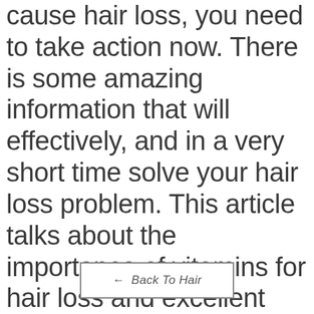cause hair loss, you need to take action now. There is some amazing information that will effectively, and in a very short time solve your hair loss problem. This article talks about the importance of vitamins for hair loss and excellent hair growth tips that will change your current look and give you a much healthier hair.
← Back To Hair